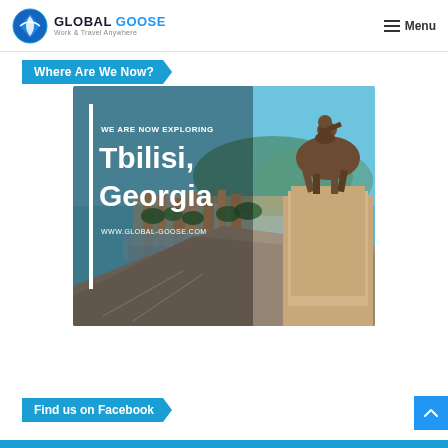GLOBAL GOOSE Work & Travel Anywhere | Menu
Where Are We Now?
[Figure (photo): Promotional image for Global Goose travel blog showing Tbilisi, Georgia. The image features a bronze equestrian statue on the right side and a panoramic view of Tbilisi city with the Mtkvari River on the left. Overlaid text reads: WE ARE NOW EXPLORING Tbilisi, Georgia www.global-goose.com. A white vertical bar separates the text overlay from the background.]
Find us on Facebook